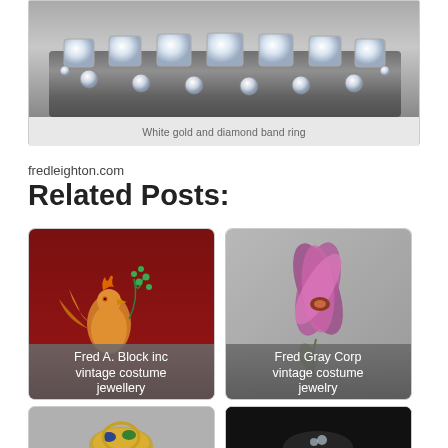[Figure (photo): Close-up photo of a white gold and diamond band ring set against a gray background]
White gold and diamond band ring
fredleighton.com
Related Posts:
[Figure (photo): Vintage costume jewelry piece (ornamental bird/figure) on dark red background with overlay text: Fred A. Block inc vintage costume jewellery]
[Figure (photo): Vintage costume jewelry flower brooch on grey background with overlay text: Fred Gray Corp vintage costume jewelry]
[Figure (photo): Gold and gemstone ring on grey background (partially visible at bottom)]
[Figure (photo): Ring on black background (partially visible at bottom)]